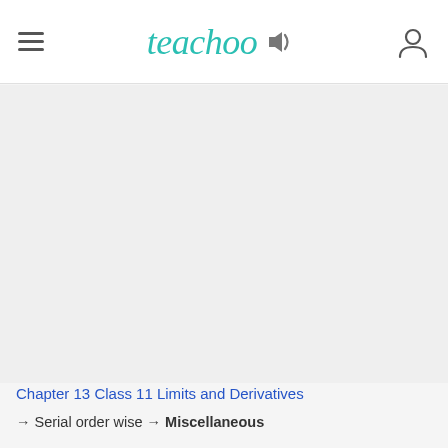teachoo
[Figure (other): Large blank/gray content area placeholder]
Chapter 13 Class 11 Limits and Derivatives
→ Serial order wise → Miscellaneous